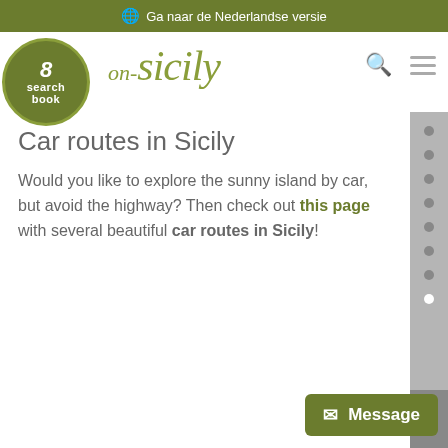🌐 Ga naar de Nederlandse versie
[Figure (logo): on-sicily website logo with searchbook badge]
Car routes in Sicily
Would you like to explore the sunny island by car, but avoid the highway? Then check out this page with several beautiful car routes in Sicily!